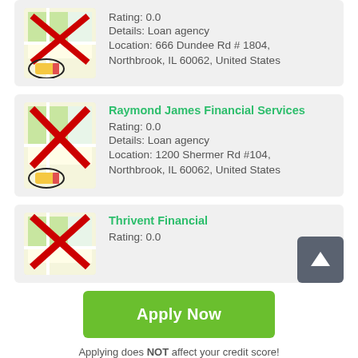Rating: 0.0
Details: Loan agency
Location: 666 Dundee Rd # 1804, Northbrook, IL 60062, United States
Raymond James Financial Services
Rating: 0.0
Details: Loan agency
Location: 1200 Shermer Rd #104, Northbrook, IL 60062, United States
Thrivent Financial
Rating: 0.0
Apply Now
Applying does NOT affect your credit score!
No credit check to apply.